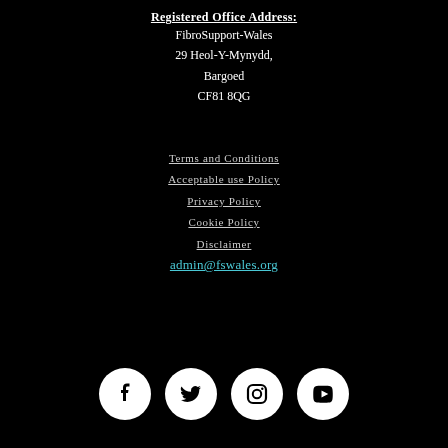Registered Office Address:
FibroSupport-Wales
29 Heol-Y-Mynydd,
Bargoed
CF81 8QG
Terms and Conditions
Acceptable use Policy
Privacy Policy
Cookie Policy
Disclaimer
admin@fswales.org
[Figure (other): Four social media icons: Facebook, Twitter, Instagram, YouTube — white circles on black background]